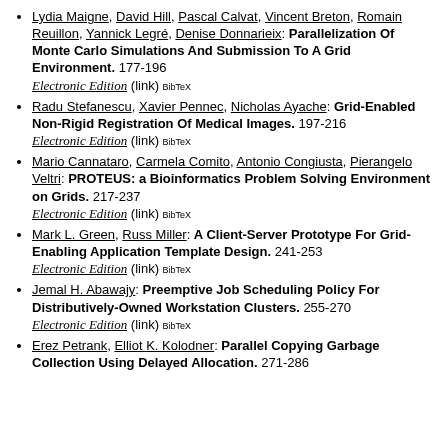Lydia Maigne, David Hill, Pascal Calvat, Vincent Breton, Romain Reuillon, Yannick Legré, Denise Donnarieix: Parallelization Of Monte Carlo Simulations And Submission To A Grid Environment. 177-196 Electronic Edition (link) BibTeX
Radu Stefanescu, Xavier Pennec, Nicholas Ayache: Grid-Enabled Non-Rigid Registration Of Medical Images. 197-216 Electronic Edition (link) BibTeX
Mario Cannataro, Carmela Comito, Antonio Congiusta, Pierangelo Veltri: PROTEUS: a Bioinformatics Problem Solving Environment on Grids. 217-237 Electronic Edition (link) BibTeX
Mark L. Green, Russ Miller: A Client-Server Prototype For Grid-Enabling Application Template Design. 241-253 Electronic Edition (link) BibTeX
Jemal H. Abawajy: Preemptive Job Scheduling Policy For Distributively-Owned Workstation Clusters. 255-270 Electronic Edition (link) BibTeX
Erez Petrank, Elliot K. Kolodner: Parallel Copying Garbage Collection Using Delayed Allocation. 271-286